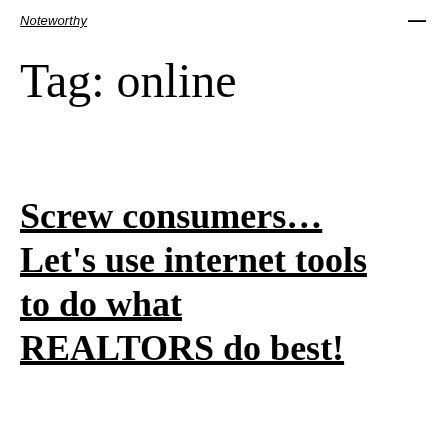Noteworthy
Tag: online
Screw consumers… Let's use internet tools to do what REALTORS do best!